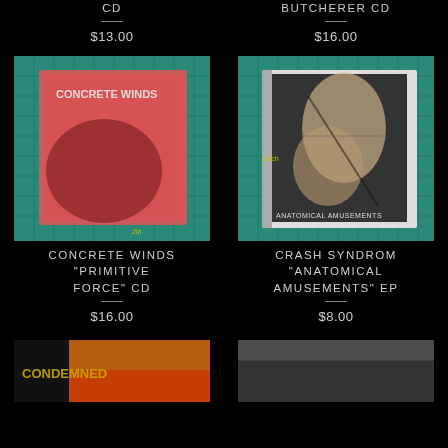CD
$13.00
BUTCHERER CD
$16.00
[Figure (photo): Concrete Winds Primitive Force CD in plastic sleeve on teal cutting mat]
CONCRETE WINDS "PRIMITIVE FORCE" CD
$16.00
[Figure (photo): Crash Syndrom Anatomical Amusements EP CD in jewel case on teal cutting mat]
CRASH SYNDROM "ANATOMICAL AMUSEMENTS" EP
$8.00
[Figure (photo): Condemned album with fire artwork, partial view]
[Figure (photo): Another CD product on dark background, partial view]